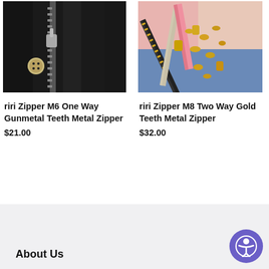[Figure (photo): Close-up photo of a black leather jacket with a zipper and a button]
[Figure (photo): Photo of multiple colorful zippers with gold teeth fanned out]
riri Zipper M6 One Way Gunmetal Teeth Metal Zipper
$21.00
riri Zipper M8 Two Way Gold Teeth Metal Zipper
$32.00
About Us